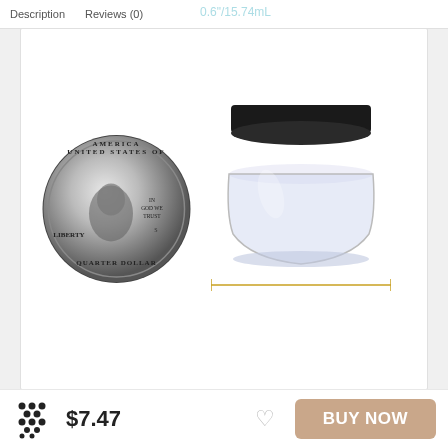Description   Reviews (0)
[Figure (photo): Product page showing a US quarter coin next to a small clear plastic jar with black lid for size comparison, with dimension annotations: 0.6"/15.74mm height and 1.2"/30.13mm width]
[Figure (photo): Thumbnail strip with 5 product images: measurements diagram, multiple black-lid jars, cosmetic use photo, multiple uses label, before/after food image]
$7.47
BUY NOW